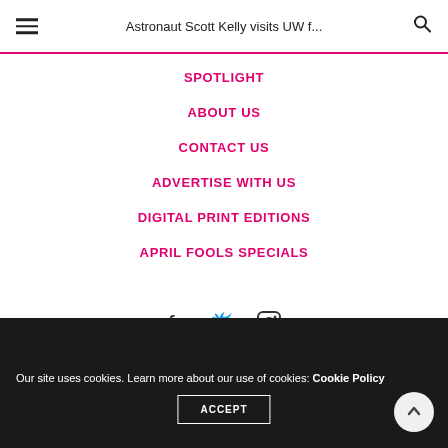Astronaut Scott Kelly visits UW f...
SPOTLIGHT
ABOUT US
CONTACT US
ADVERTISE WITH US
DIGITAL PRINT EDITIONS
APRIL FOOLS SPECIALS
[Figure (infographic): Social media icons: Facebook, Twitter, Instagram]
Our site uses cookies. Learn more about our use of cookies: Cookie Policy
ACCEPT